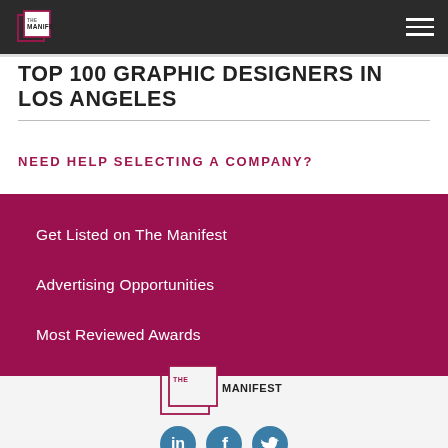THE MANIFEST
TOP 100 GRAPHIC DESIGNERS IN LOS ANGELES
NEED HELP SELECTING A COMPANY?
Get Listed on The Manifest
Advertising Opportunities
Most Reviewed Awards
[Figure (logo): The Manifest logo with overlapping rectangles and text]
[Figure (infographic): Social media icons: LinkedIn, Facebook, Twitter]